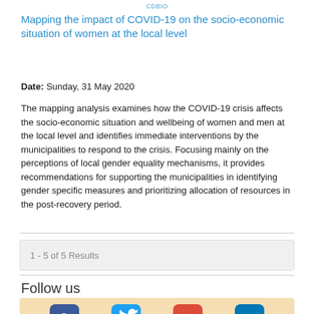CDBIO
Mapping the impact of COVID-19 on the socio-economic situation of women at the local level
Date: Sunday, 31 May 2020
The mapping analysis examines how the COVID-19 crisis affects the socio-economic situation and wellbeing of women and men at the local level and identifies immediate interventions by the municipalities to respond to the crisis. Focusing mainly on the perceptions of local gender equality mechanisms, it provides recommendations for supporting the municipalities in identifying gender specific measures and prioritizing allocation of resources in the post-recovery period.
1 - 5 of 5 Results
Follow us
[Figure (other): Social media icons: Facebook, Twitter, Google+, LinkedIn on a beige background]